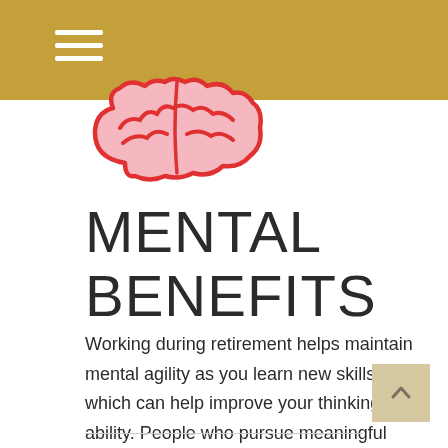[Figure (illustration): Brain icon — pink brain shape with red outline]
MENTAL BENEFITS
Working during retirement helps maintain mental agility as you learn new skills, which can help improve your thinking ability. People who pursue meaningful activities say they feel happier and healthier.²